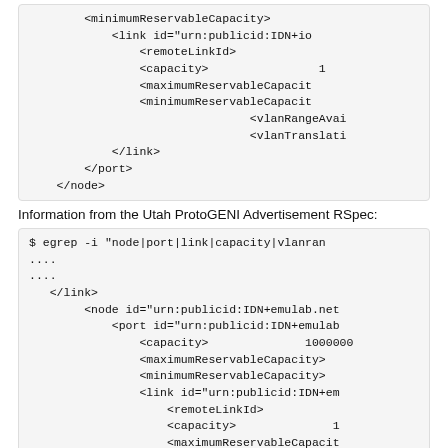[Figure (screenshot): Code block showing XML snippet with minimumReservableCapacity, link id, remoteLinkId, capacity, maximumReservableCapacity, minimumReservableCapacity, vlanRangeAvai, vlanTranslati, closing link, port, node tags]
Information from the Utah ProtoGENI Advertisement RSpec:
[Figure (screenshot): Code block showing terminal command: $ egrep -i "node|port|link|capacity|vlanran followed by XML output with node id urn:publicid:IDN+emulab.net, port id urn:publicid:IDN+emulab, capacity 1000000, maximumReservableCapacity, minimumReservableCapacity, link id urn:publicid:IDN+em, remoteLinkId, capacity 1, maximumReservableCapacit, minimumReservableCapacit, vlanRangeAvail, vlanTranslatio]